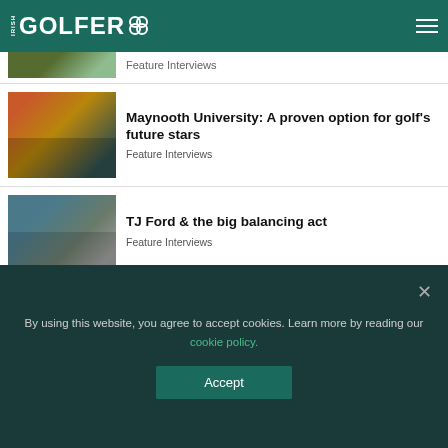IRISH GOLFER
Feature Interviews
Maynooth University: A proven option for golf's future stars
Feature Interviews
TJ Ford & the big balancing act
Feature Interviews
The Making of John Murphy
Feature Interviews, Latest News
By using this website, you agree to accept cookies. Learn more by reading our cookie policy.
Accept